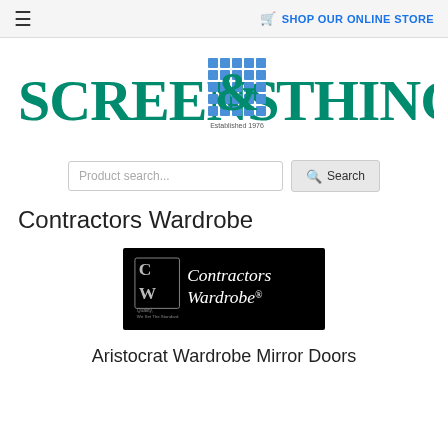≡   🛒 SHOP OUR ONLINE STORE
[Figure (logo): Screens & Things logo with blue grid icon and teal text, Established 1976]
Product search...   🔍 Search
Contractors Wardrobe
[Figure (logo): Contractors Wardrobe brand logo - black background with CW icon and text 'Contractors Wardrobe®' with 'Quality, We Set The Standard' tagline]
Aristocrat Wardrobe Mirror Doors